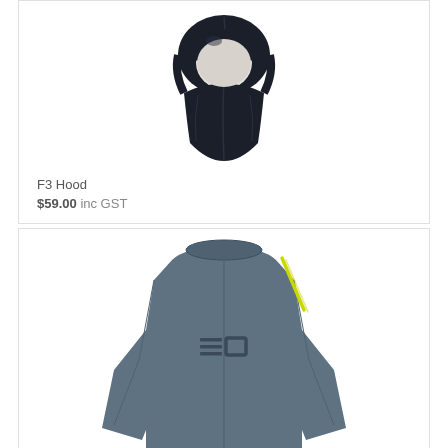[Figure (photo): Black neoprene diving hood (F3 Hood) photographed from front, showing the hood and neck collar area against a white background.]
F3 Hood
$59.00 inc GST
[Figure (photo): Grey/slate colored long-sleeve wetsuit top photographed from the back, showing EO brand logo and yellow/lime accent stripe near the shoulder. The garment is worn on a mannequin.]